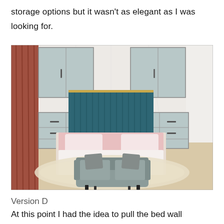storage options but it wasn't as elegant as I was looking for.
[Figure (illustration): Interior design rendering of a bedroom showing a bed with pink/rose bedding and a teal upholstered headboard with vertical channel tufting, flanked by two pairs of light blue-grey wardrobes/cabinets, matching nightstands with drawers on each side, a grey loveseat/sofa at the foot of the bed, a cream patterned area rug, and terracotta/rust curtains on the left side.]
Version D
At this point I had the idea to pull the bed wall